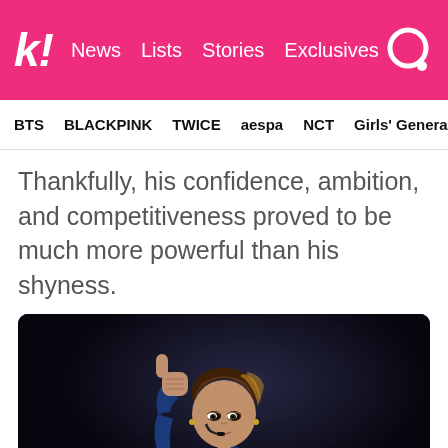k! News  Lists  Stories  Exclusives
BTS  BLACKPINK  TWICE  aespa  NCT  Girls' Generation
Thankfully, his confidence, ambition, and competitiveness proved to be much more powerful than his shyness.
[Figure (photo): A male K-pop performer on stage wearing a blue sequined jacket and headset microphone, giving a thumbs up gesture, with dark dramatic stage lighting behind him.]